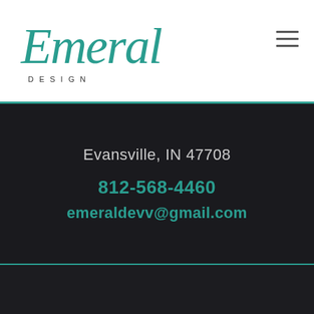[Figure (logo): Emerald Design logo with teal cursive script 'Emerald' above spaced uppercase 'DESIGN' text]
Evansville, IN 47708
812-568-4460
emeraldevv@gmail.com